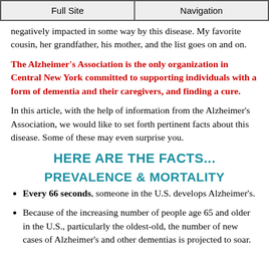Full Site | Navigation
negatively impacted in some way by this disease. My favorite cousin, her grandfather, his mother, and the list goes on and on.
The Alzheimer's Association is the only organization in Central New York committed to supporting individuals with a form of dementia and their caregivers, and finding a cure.
In this article, with the help of information from the Alzheimer's Association, we would like to set forth pertinent facts about this disease. Some of these may even surprise you.
HERE ARE THE FACTS...
PREVALENCE & MORTALITY
Every 66 seconds, someone in the U.S. develops Alzheimer's.
Because of the increasing number of people age 65 and older in the U.S., particularly the oldest-old, the number of new cases of Alzheimer's and other dementias is projected to soar.